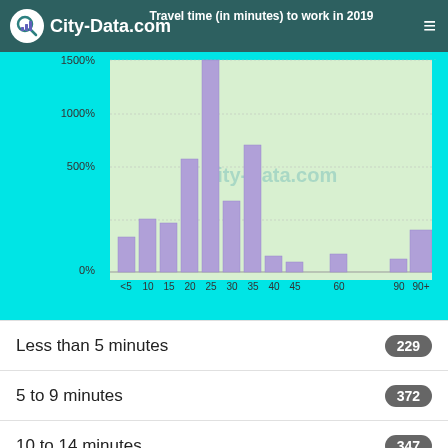City-Data.com
[Figure (histogram): Travel time (in minutes) to work in 2019]
Less than 5 minutes
5 to 9 minutes
10 to 14 minutes
15 to 19 minutes
20 to 24 minutes